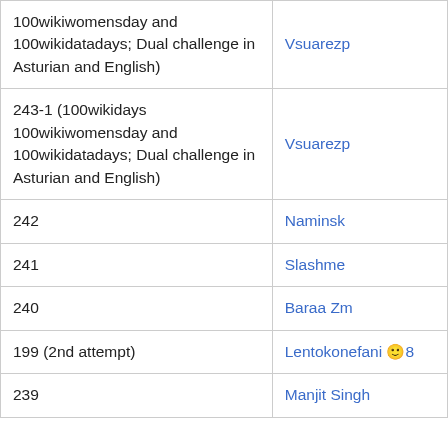| Description | User |
| --- | --- |
| 100wikiwomensday and 100wikidatadays; Dual challenge in Asturian and English) | Vsuarezp |
| 243-1 (100wikidays 100wikiwomensday and 100wikidatadays; Dual challenge in Asturian and English) | Vsuarezp |
| 242 | Naminsk |
| 241 | Slashme |
| 240 | Baraa Zm |
| 199 (2nd attempt) | Lentokonefani 🙂8 |
| 239 | Manjit Singh |